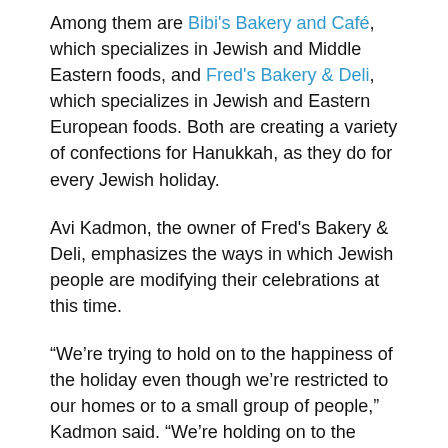Among them are Bibi's Bakery and Café, which specializes in Jewish and Middle Eastern foods, and Fred's Bakery & Deli, which specializes in Jewish and Eastern European foods. Both are creating a variety of confections for Hanukkah, as they do for every Jewish holiday.
Avi Kadmon, the owner of Fred's Bakery & Deli, emphasizes the ways in which Jewish people are modifying their celebrations at this time.
“We’re trying to hold on to the happiness of the holiday even though we’re restricted to our homes or to a small group of people,” Kadmon said. “We’re holding on to the traditions and celebrating as much as we can right now.”
Dan Messinger, the owner of Bibi’s Bakery and Café, speaks proudly of the ways he and the bakery’s workers are able to...